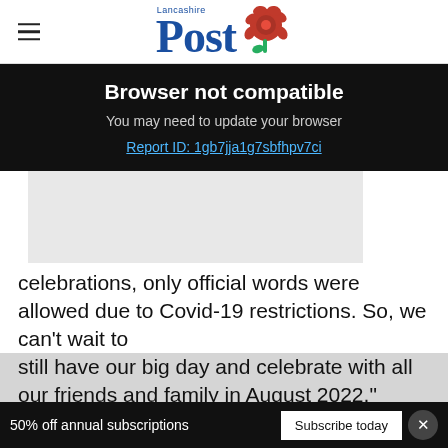Lancashire Post
Browser not compatible
You may need to update your browser
Report ID: 1gb7jja1g7sbfhpv7ci
[Figure (other): Grey placeholder image area]
celebrations, only official words were allowed due to Covid-19 restrictions. So, we can't wait to still have our big day and celebrate with all our friends and family in August 2022," explained
50% off annual subscriptions  Subscribe today